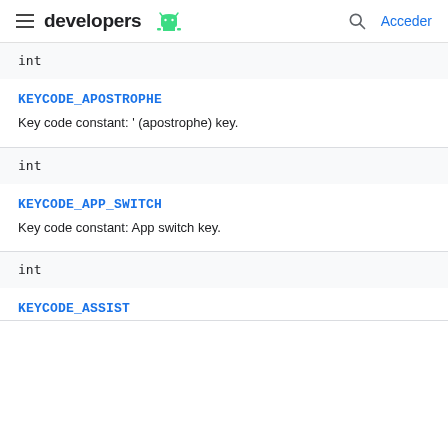developers  Acceder
int
KEYCODE_APOSTROPHE
Key code constant: ' (apostrophe) key.
int
KEYCODE_APP_SWITCH
Key code constant: App switch key.
int
KEYCODE_ASSIST